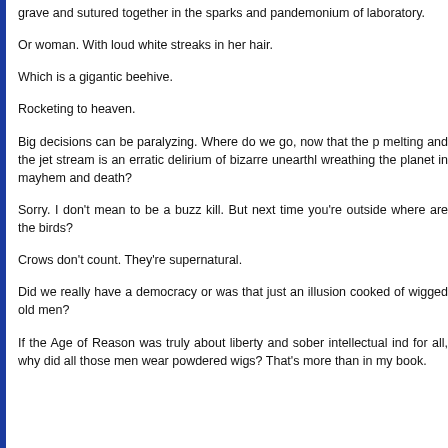grave and sutured together in the sparks and pandemonium of laboratory.
Or woman. With loud white streaks in her hair.
Which is a gigantic beehive.
Rocketing to heaven.
Big decisions can be paralyzing. Where do we go, now that the p melting and the jet stream is an erratic delirium of bizarre unearthl wreathing the planet in mayhem and death?
Sorry. I don't mean to be a buzz kill. But next time you're outside where are the birds?
Crows don't count. They're supernatural.
Did we really have a democracy or was that just an illusion cooked of wigged old men?
If the Age of Reason was truly about liberty and sober intellectual ind for all, why did all those men wear powdered wigs? That's more than in my book.